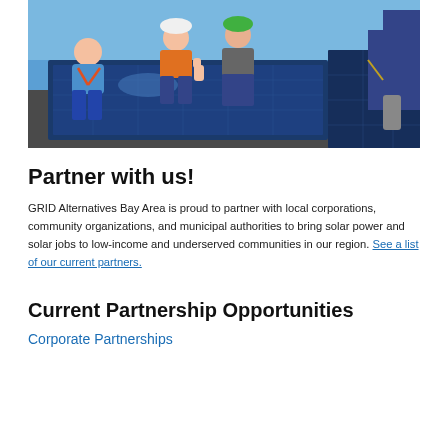[Figure (photo): Workers in safety gear and hard hats sitting on rooftop solar panels with blue sky background]
Partner with us!
GRID Alternatives Bay Area is proud to partner with local corporations, community organizations, and municipal authorities to bring solar power and solar jobs to low-income and underserved communities in our region. See a list of our current partners.
Current Partnership Opportunities
Corporate Partnerships